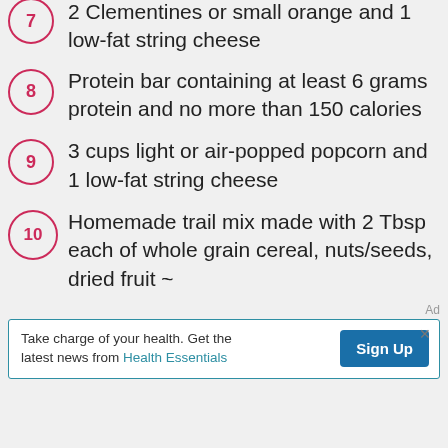7 — 2 Clementines or small orange and 1 low-fat string cheese
8 — Protein bar containing at least 6 grams protein and no more than 150 calories
9 — 3 cups light or air-popped popcorn and 1 low-fat string cheese
10 — Homemade trail mix made with 2 Tbsp each of whole grain cereal, nuts/seeds, dried fruit ~
Ad
Take charge of your health. Get the latest news from Health Essentials  Sign Up